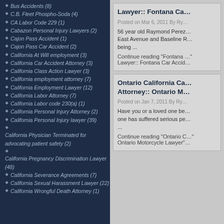Bus Accidents (8)
C.B. Fleet Phospho-Soda (4)
CA Labor Code 229 (1)
Cabazon Personal Injury Lawyers (2)
Cajon Pass Accident (1)
Cajon Pass Car Accident (2)
California At Will employment (3)
California Car Accident Attorney (3)
California Class Action Lawyer (3)
California employment attorney (7)
California Employment Lawyer (12)
California Labor Attorney (7)
California Labor code 230(a) (1)
California Personal Injury Attorney (2)
California Personal Injury lawyer (39)
California Physician Terminated for advocating patient safety (2)
California Pregnancy Discrimination Lawyer (48)
California Severance Agreements (7)
California Sexual Harassment Lawyer (22)
California Wrongful Death Attorney (1)
Lawyer:: Fontana Ca...
Posted on Mar 6, 2011 By Ry...
56 year old Raymond Perez... East Avenue and Baseline R... being ...
Continue reading "Fontana ..."
Lawyer:: Fontana Car Accid...
Ontario California Ca... Attorney:: Ontario M...
Posted on Jan 7, 2011 By Ry...
Have you or a loved one be... one has suffered serious pe... ...
Continue reading "Ontario C..."
Ontario Motorcycle Lawyer"...